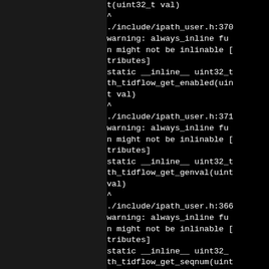[Figure (screenshot): Terminal/compiler output showing a series of compiler warnings about always_inline functions in ipath_user.h that might not be inlinable due to attributes. Shows repeated warning blocks for th_tidflow_get_enabled, th_tidflow_get_genval, and th_tidflow_get_seqnum functions.]